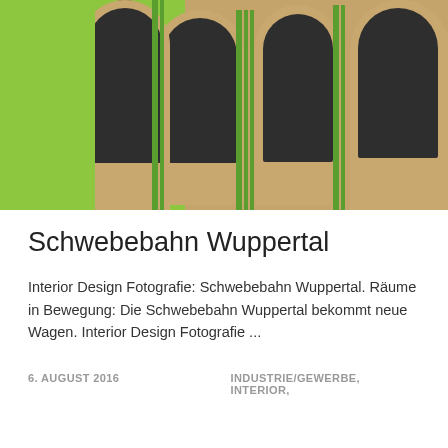[Figure (photo): Close-up photo of modern design seat/chair components for Wuppertal Schwebebahn (suspension railway), showing dark grey felt padding on wooden/tan curved frame elements with green straps/bindings, against a bright green background.]
Schwebebahn Wuppertal
Interior Design Fotografie: Schwebebahn Wuppertal. Räume in Bewegung: Die Schwebebahn Wuppertal bekommt neue Wagen. Interior Design Fotografie ...
6. AUGUST 2016
INDUSTRIE/GEWERBE, INTERIOR,